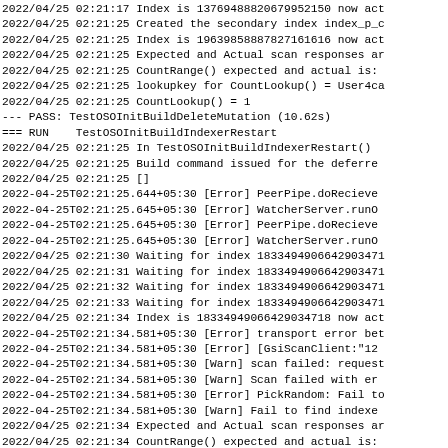Log output from a software test run showing index build, restart, and scan operations with timestamps and error/warn messages.